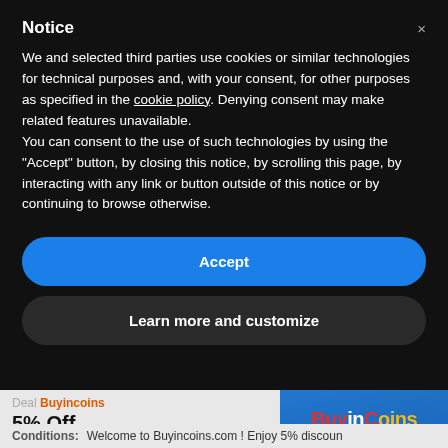Notice
We and selected third parties use cookies or similar technologies for technical purposes and, with your consent, for other purposes as specified in the cookie policy. Denying consent may make related features unavailable.
You can consent to the use of such technologies by using the "Accept" button, by closing this notice, by scrolling this page, by interacting with any link or button outside of this notice or by continuing to browse otherwise.
Accept
Learn more and customize
Deal Buyincoins
5% Off
[Figure (logo): BuyinCoins logo — blue background with white swirl/ring graphic above, and colored brand text 'BuyinCoins' below]
Conditions:   Welcome to Buyincoins.com ! Enjoy 5% discoun